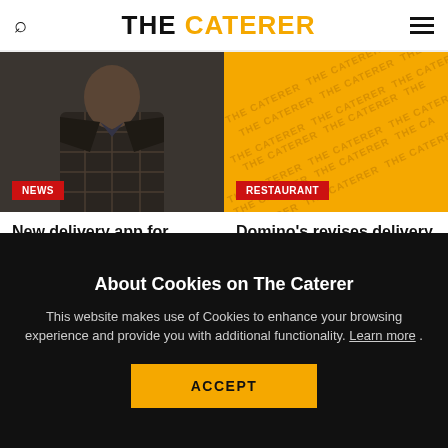THE CATERER
[Figure (photo): Person in plaid/checked jacket, NEWS badge overlay at bottom left]
[Figure (photo): Golden/yellow background with repeated THE CATERER watermark text, RESTAURANT badge overlay at bottom left]
New delivery app for independent restaurants hits crowdfund target
Domino's revises delivery rule
About Cookies on The Caterer
This website makes use of Cookies to enhance your browsing experience and provide you with additional functionality. Learn more .